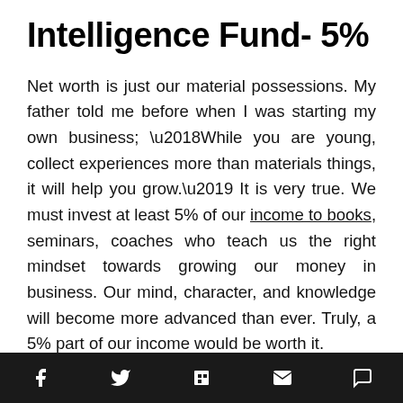Intelligence Fund- 5%
Net worth is just our material possessions. My father told me before when I was starting my own business; ‘While you are young, collect experiences more than materials things, it will help you grow.’ It is very true. We must invest at least 5% of our income to books, seminars, coaches who teach us the right mindset towards growing our money in business. Our mind, character, and knowledge will become more advanced than ever. Truly, a 5% part of our income would be worth it.
Donation Fund- 10%
social share bar with icons: facebook, twitter, flipboard, email, comment